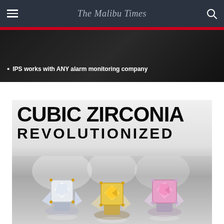The Malibu Times
[Figure (photo): Dark advertisement banner with bullet point text: IPS works with ANY alarm monitoring company]
[Figure (photo): Advertisement for Cubic Zirconia Revolutionized featuring three gemstone rings - a white/clear round cut, a yellow cushion cut, and a pink cushion cut, all in silver/gold settings on a reflective surface]